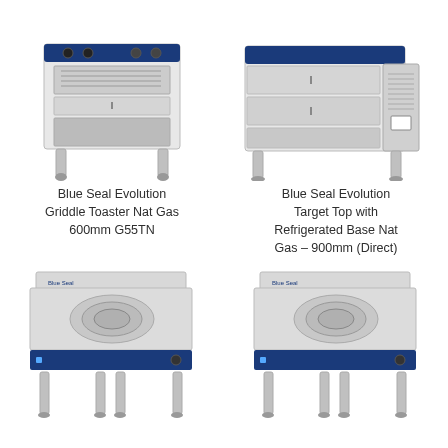[Figure (photo): Blue Seal Evolution Griddle Toaster Nat Gas 600mm G55TN - stainless steel commercial kitchen appliance with blue top panel and open base on legs]
[Figure (photo): Blue Seal Evolution Target Top with Refrigerated Base Nat Gas 900mm (Direct) - stainless steel commercial kitchen appliance with blue top panel and refrigerated drawers base]
Blue Seal Evolution Griddle Toaster Nat Gas 600mm G55TN
Blue Seal Evolution Target Top with Refrigerated Base Nat Gas - 900mm (Direct)
[Figure (photo): Blue Seal Evolution induction cooktop on open leg stand - stainless steel with blue front panel and backsplash]
[Figure (photo): Blue Seal Evolution induction cooktop on open leg stand - stainless steel with blue front panel and backsplash (similar unit)]